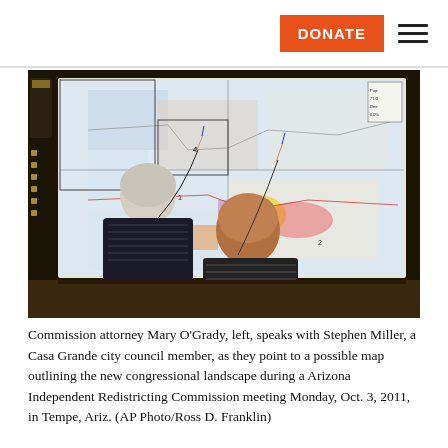DONATE [navigation menu]
[Figure (photo): Two people pointing at a large illuminated map on a wall screen. One person has white/gray hair and wears a dark patterned jacket; the other wears a striped shirt. The map shows congressional redistricting boundaries for Arizona.]
Commission attorney Mary O'Grady, left, speaks with Stephen Miller, a Casa Grande city council member, as they point to a possible map outlining the new congressional landscape during a Arizona Independent Redistricting Commission meeting Monday, Oct. 3, 2011, in Tempe, Ariz. (AP Photo/Ross D. Franklin)